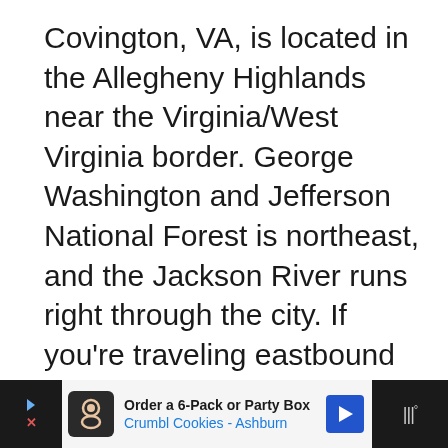Covington, VA, is located in the Allegheny Highlands near the Virginia/West Virginia border. George Washington and Jefferson National Forest is northeast, and the Jackson River runs right through the city. If you're traveling eastbound from Callaghan, you can take either Highway 60 or Interstate 64 for a short five-mile drive to
[Figure (other): Advertisement banner at bottom of screen for Crumbl Cookies - Ashburn: 'Order a 6-Pack or Party Box' with logo, navigation arrow icon, and audio controls on dark background]